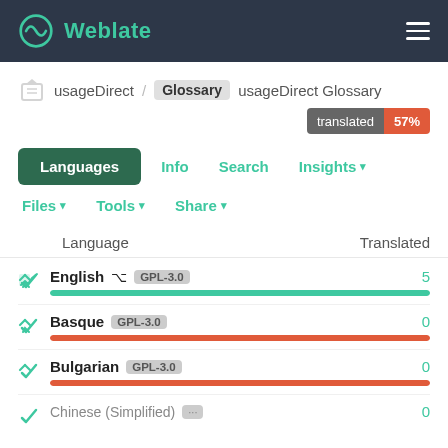Weblate
usageDirect / Glossary usageDirect Glossary
translated 57%
Languages  Info  Search  Insights ▾
Files ▾  Tools ▾  Share ▾
| Language | Translated |
| --- | --- |
| English ⌥ GPL-3.0 | 5 |
| Basque GPL-3.0 | 0 |
| Bulgarian GPL-3.0 | 0 |
| Chinese (Simplified) ... | 0 |